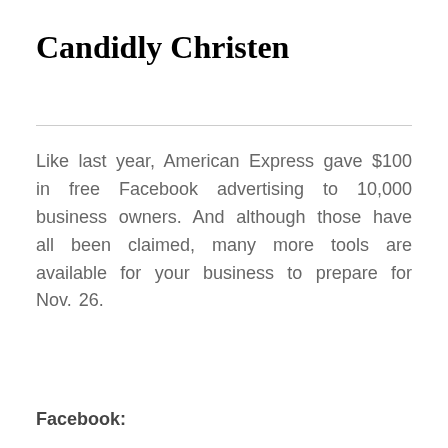Candidly Christen
Like last year, American Express gave $100 in free Facebook advertising to 10,000 business owners. And although those have all been claimed, many more tools are available for your business to prepare for Nov. 26.
Facebook: